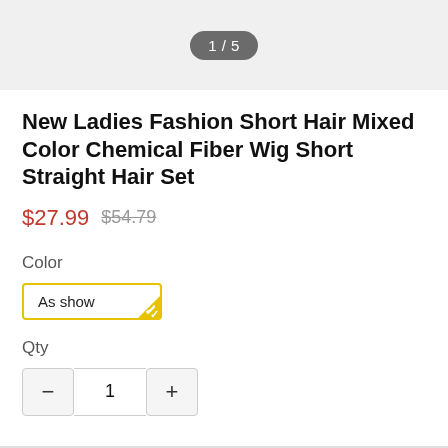1 / 5
New Ladies Fashion Short Hair Mixed Color Chemical Fiber Wig Short Straight Hair Set
$27.99  $54.79
Color
As show
Qty
- 1 +